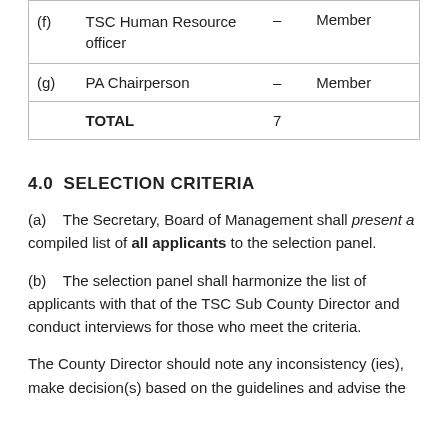|  |  |  |  |
| --- | --- | --- | --- |
| (f) | TSC Human Resource officer | – | Member |
| (g) | PA Chairperson | – | Member |
|  | TOTAL | 7 |  |
4.0  SELECTION CRITERIA
(a)    The Secretary, Board of Management shall present a compiled list of all applicants to the selection panel.
(b)    The selection panel shall harmonize the list of applicants with that of the TSC Sub County Director and conduct interviews for those who meet the criteria.
The County Director should note any inconsistency (ies), make decision(s) based on the guidelines and advise the